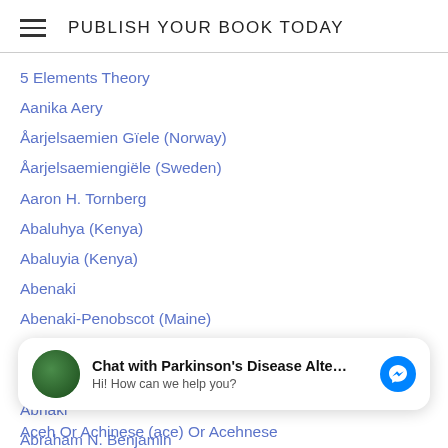PUBLISH YOUR BOOK TODAY
5 Elements Theory
Aanika Aery
Åarjelsaemien Gïele (Norway)
Åarjelsaemiengiële (Sweden)
Aaron H. Tornberg
Abaluhya (Kenya)
Abaluyia (Kenya)
Abenaki
Abenaki-Penobscot (Maine)
Abenaki-Penobscot (Quebec)
Abhilipsa Kuanar
Abnaki
Abraham N. Benjamin
[Figure (screenshot): Chat popup: 'Chat with Parkinson's Disease Alte...' with avatar and Messenger icon. Subtitle: 'Hi! How can we help you?']
Aceh Or Achinese (ace) Or Acehnese